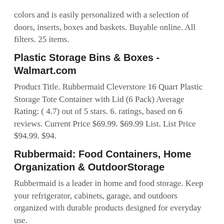colors and is easily personalized with a selection of doors, inserts, boxes and baskets. Buyable online. All filters. 25 items.
Plastic Storage Bins & Boxes - Walmart.com
Product Title. Rubbermaid Cleverstore 16 Quart Plastic Storage Tote Container with Lid (6 Pack) Average Rating: ( 4.7) out of 5 stars. 6. ratings, based on 6 reviews. Current Price $69.99. $69.99 List. List Price $94.99. $94.
Rubbermaid: Food Containers, Home Organization & OutdoorStorage
Rubbermaid is a leader in home and food storage. Keep your refrigerator, cabinets, garage, and outdoors organized with durable products designed for everyday use.
Laundry Baskets, Clothes Hampers & Step Stools | Rubbermaid